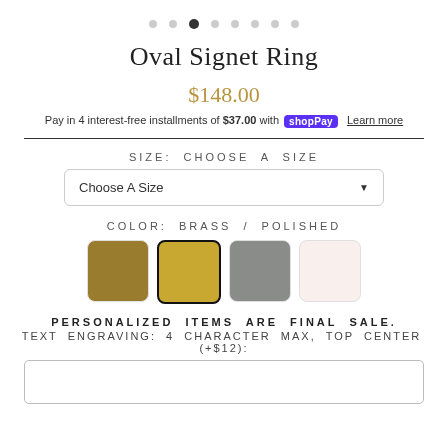[Figure (other): Pagination dots, 8 total with third dot active/filled]
Oval Signet Ring
$148.00
Pay in 4 interest-free installments of $37.00 with Shop Pay  Learn more
Size: Choose A Size
Choose A Size (dropdown)
Color: Brass / Polished
[Figure (other): Four color swatches: antique gold, brass/polished (selected with black border), silver/grey, rose/cream]
PERSONALIZED ITEMS ARE FINAL SALE.
TEXT ENGRAVING: 4 character max, top center (+$12):
[Figure (other): Empty text input box for engraving text]